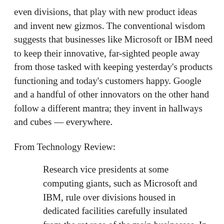even divisions, that play with new product ideas and invent new gizmos. The conventional wisdom suggests that businesses like Microsoft or IBM need to keep their innovative, far-sighted people away from those tasked with keeping yesterday's products functioning and today's customers happy. Google and a handful of other innovators on the other hand follow a different mantra; they invent in hallways and cubes — everywhere.
From Technology Review:
Research vice presidents at some computing giants, such as Microsoft and IBM, rule over divisions housed in dedicated facilities carefully insulated from the rat race of the main businesses. In contrast, Google's research boss, Alfred Spector, has a small core team and no department or building to call his own. He spends most of his time roaming the open plan, novelty strewn offices of Google's product divisions, where the vast majority of its